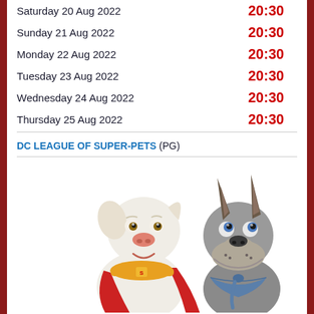| Date | Time |
| --- | --- |
| Saturday 20 Aug 2022 | 20:30 |
| Sunday 21 Aug 2022 | 20:30 |
| Monday 22 Aug 2022 | 20:30 |
| Tuesday 23 Aug 2022 | 20:30 |
| Wednesday 24 Aug 2022 | 20:30 |
| Thursday 25 Aug 2022 | 20:30 |
DC LEAGUE OF SUPER-PETS (PG)
[Figure (illustration): Promotional image of DC League of Super-Pets animated movie characters: a white dog wearing a red cape and yellow belt on the left, and a grey Great Dane wearing a blue collar on the right]